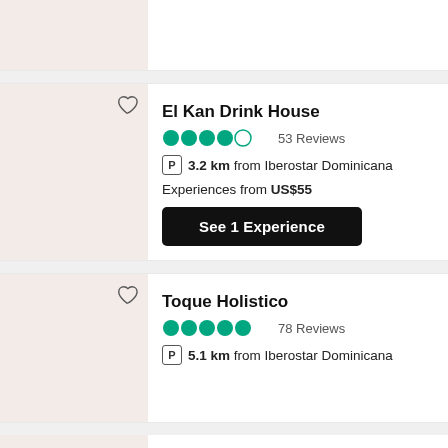[Figure (photo): Partial view of a venue image placeholder at the top of the page]
El Kan Drink House
4 out of 5 circles rating, 53 Reviews
P 3.2 km from Iberostar Dominicana
Experiences from US$55
See 1 Experience
Toque Holistico
5 out of 5 circles rating, 78 Reviews
P 5.1 km from Iberostar Dominicana
Legacy Disco